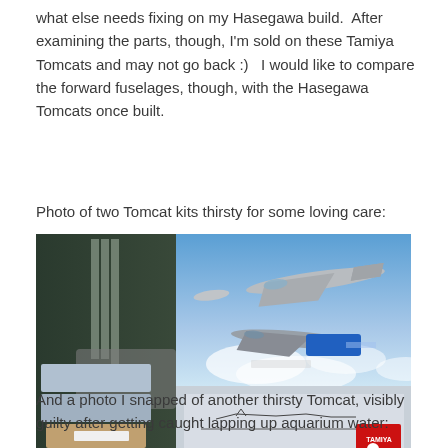what else needs fixing on my Hasegawa build.  After examining the parts, though, I'm sold on these Tamiya Tomcats and may not go back :)   I would like to compare the forward fuselages, though, with the Hasegawa Tomcats once built.
Photo of two Tomcat kits thirsty for some loving care:
[Figure (photo): Photograph of two Tamiya F-14 Tomcat model kit boxes, one open showing the box art of two F-14 jets in flight above clouds, and another box below showing side-view line art of the aircraft. Other model kits are stacked to the left side.]
And a photo I snapped of another thirsty Tomcat, visibly guilty after getting caught lapping up aquarium water: